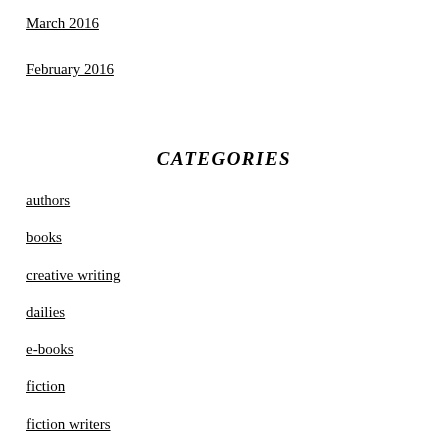March 2016
February 2016
CATEGORIES
authors
books
creative writing
dailies
e-books
fiction
fiction writers
humor
inspiration